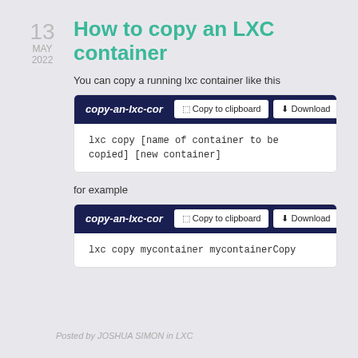13 MAY 2022
How to copy an LXC container
You can copy a running lxc container like this
[Figure (screenshot): Code block toolbar showing filename 'copy-an-lxc-cor' with 'Copy to clipboard' and 'Download' buttons]
lxc copy [name of container to be copied] [new container]
for example
[Figure (screenshot): Code block toolbar showing filename 'copy-an-lxc-cor' with 'Copy to clipboard' and 'Download' buttons]
lxc copy mycontainer mycontainerCopy
Posted by JOSHUA SIMON in LXC